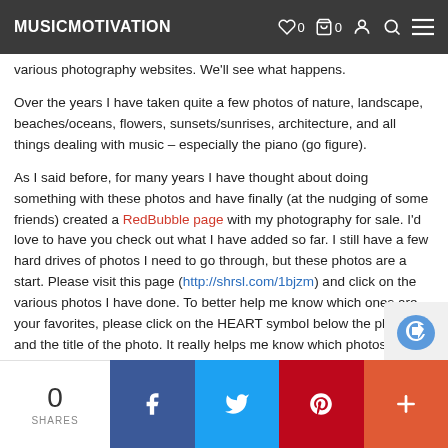MUSICMOTIVATION
various photography websites. We'll see what happens.
Over the years I have taken quite a few photos of nature, landscape, beaches/oceans, flowers, sunsets/sunrises, architecture, and all things dealing with music – especially the piano (go figure).
As I said before, for many years I have thought about doing something with these photos and have finally (at the nudging of some friends) created a RedBubble page with my photography for sale. I'd love to have you check out what I have added so far. I still have a few hard drives of photos I need to go through, but these photos are a start. Please visit this page (http://shrsl.com/1bjzm) and click on the various photos I have done. To better help me know which ones are your favorites, please click on the HEART symbol below the photo and the title of the photo. It really helps me know which photos are the favorites and will help me as I upload more photography i…